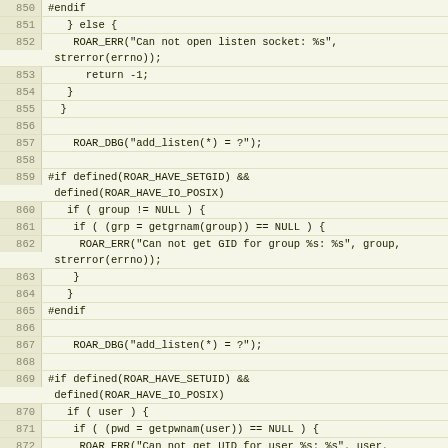[Figure (screenshot): Source code viewer showing C code lines 850-877 with line numbers on the left in a beige/tan code editor style. The code contains preprocessor directives, error handling, and debug logging statements.]